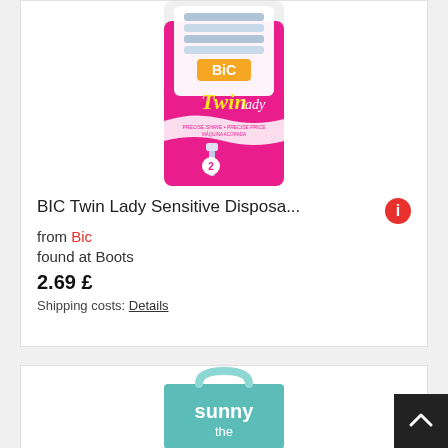[Figure (photo): BIC Twin Lady razor product package in pink color with disposable razors visible]
BIC Twin Lady Sensitive Disposa... from Bic
found at Boots
2.69 £
Shipping costs: Details
[Figure (photo): Teal/mint colored shopping bag with text 'sunny the' visible]